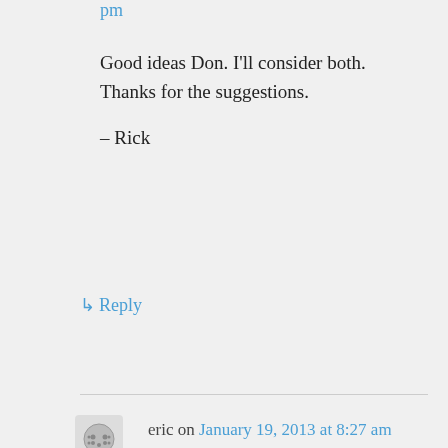pm
Good ideas Don. I'll consider both. Thanks for the suggestions.
– Rick
↳ Reply
eric on January 19, 2013 at 8:27 am
I can't find out how to have my display stop or off switch (right edge of gnexus) turn off the app that was running. Phone calls remain open even though screen goes blank and appears off. It used to turn phone off